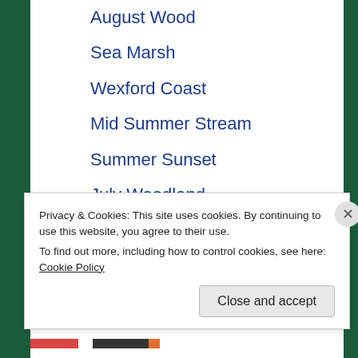August Wood
Sea Marsh
Wexford Coast
Mid Summer Stream
Summer Sunset
July Woodland
Low Water
Hay Time
Cool Wood
Flowers of May
Abandoned Farm
Early May
Privacy & Cookies: This site uses cookies. By continuing to use this website, you agree to their use.
To find out more, including how to control cookies, see here: Cookie Policy
Close and accept